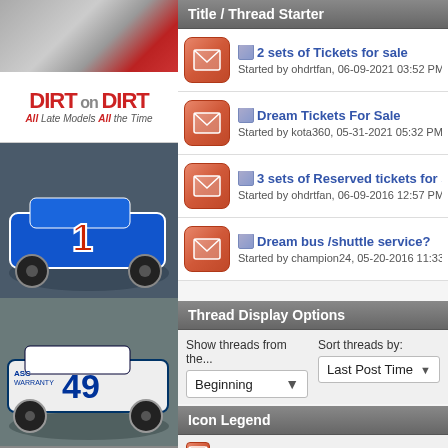[Figure (photo): Racing car site left column with logo and two dirt late model race cars]
Title / Thread Starter
2 sets of Tickets for sale
Started by ohdrtfan, 06-09-2021 03:52 PM
Dream Tickets For Sale
Started by kota360, 05-31-2021 05:32 PM
3 sets of Reserved tickets for sale!
Started by ohdrtfan, 06-09-2016 12:57 PM
Dream bus /shuttle service?
Started by champion24, 05-20-2016 11:33
Thread Display Options
Show threads from the...
Beginning
Sort threads by:
Last Post Time
Icon Legend
Contains unread posts
Contains no unread posts